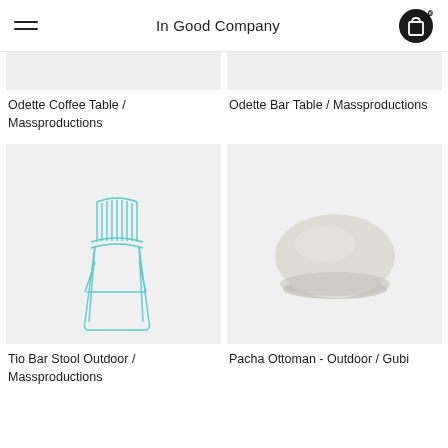In Good Company
Odette Coffee Table / Massproductions
Odette Bar Table / Massproductions
[Figure (photo): Tio Bar Stool Outdoor – a wire frame bar stool in teal/turquoise color by Massproductions]
[Figure (photo): Pacha Ottoman - Outdoor – a rounded pebble-shaped upholstered ottoman in light grey/cream by Gubi]
Tio Bar Stool Outdoor / Massproductions
Pacha Ottoman - Outdoor / Gubi